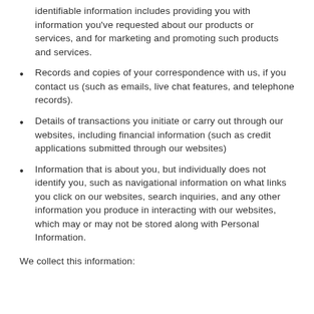identifiable information includes providing you with information you've requested about our products or services, and for marketing and promoting such products and services.
Records and copies of your correspondence with us, if you contact us (such as emails, live chat features, and telephone records).
Details of transactions you initiate or carry out through our websites, including financial information (such as credit applications submitted through our websites)
Information that is about you, but individually does not identify you, such as navigational information on what links you click on our websites, search inquiries, and any other information you produce in interacting with our websites, which may or may not be stored along with Personal Information.
We collect this information: